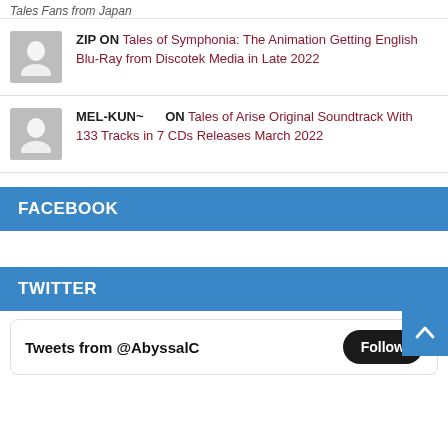Tales Fans from Japan
ZIP ON Tales of Symphonia: The Animation Getting English Blu-Ray from Discotek Media in Late 2022
MEL-KUN~ ON Tales of Arise Original Soundtrack With 133 Tracks in 7 CDs Releases March 2022
FACEBOOK
TWITTER
Tweets from @AbyssalC
Follow